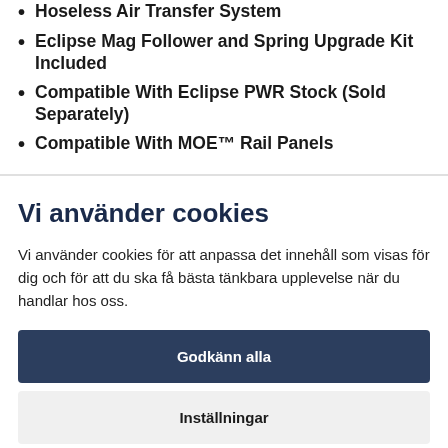Hoseless Air Transfer System
Eclipse Mag Follower and Spring Upgrade Kit Included
Compatible With Eclipse PWR Stock (Sold Separately)
Compatible With MOE™ Rail Panels
Vi använder cookies
Vi använder cookies för att anpassa det innehåll som visas för dig och för att du ska få bästa tänkbara upplevelse när du handlar hos oss.
Godkänn alla
Inställningar